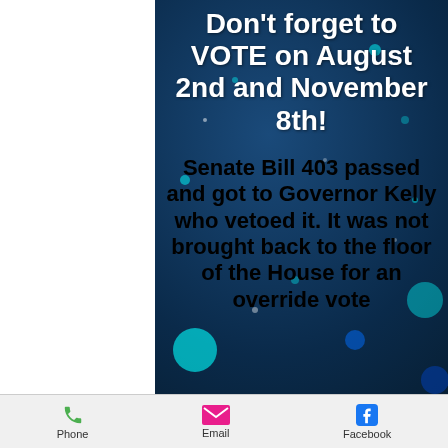Don't forget to VOTE on August 2nd and November 8th!
Senate Bill 403 passed and got to Governor Kelly who vetoed it. It was not brought back to the floor of the House for an override vote
Phone   Email   Facebook